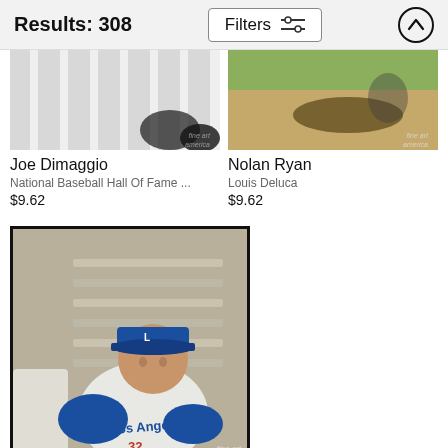Results: 308
Filters
[Figure (photo): Joe DiMaggio baseball photo in black and white, showing uniform detail]
Joe Dimaggio
National Baseball Hall Of Fame ...
$9.62
[Figure (photo): Nolan Ryan baseball action photo showing player sliding on field]
Nolan Ryan
Louis Deluca
$9.62
[Figure (photo): Los Angeles Dodgers player wearing jersey number 32, sitting in dugout area, color photo]